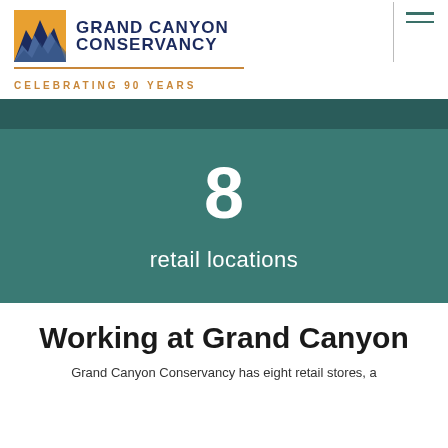[Figure (logo): Grand Canyon Conservancy logo with canyon icon, text 'GRAND CANYON CONSERVANCY', gold underline, and 'CELEBRATING 90 YEARS' tagline]
[Figure (infographic): Teal/dark green banner showing the number 8 in large white bold font with text 'retail locations' below]
Working at Grand Canyon
Grand Canyon Conservancy has eight retail stores, a